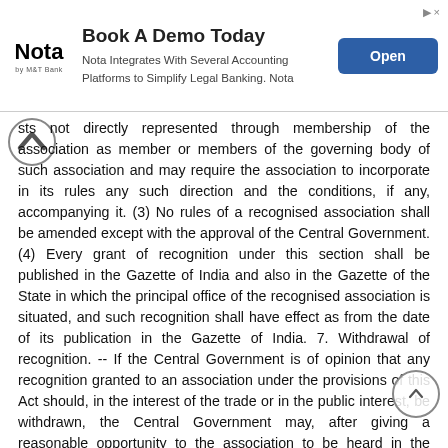[Figure (other): Advertisement banner: Nota by M&T Bank - Book A Demo Today. Nota Integrates With Several Accounting Platforms to Simplify Legal Banking. Nota. Open button.]
sts not directly represented through membership of the association as member or members of the governing body of such association and may require the association to incorporate in its rules any such direction and the conditions, if any, accompanying it. (3) No rules of a recognised association shall be amended except with the approval of the Central Government. (4) Every grant of recognition under this section shall be published in the Gazette of India and also in the Gazette of the State in which the principal office of the recognised association is situated, and such recognition shall have effect as from the date of its publication in the Gazette of India. 7. Withdrawal of recognition. -- If the Central Government is of opinion that any recognition granted to an association under the provisions of this Act should, in the interest of the trade or in the public interest, be withdrawn, the Central Government may, after giving a reasonable opportunity to the association to be heard in the matter, withdraw by